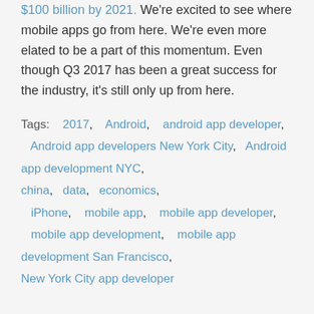$100 billion by 2021. We're excited to see where mobile apps go from here. We're even more elated to be a part of this momentum. Even though Q3 2017 has been a great success for the industry, it's still only up from here.
Tags: 2017, Android, android app developer, Android app developers New York City, Android app development NYC, china, data, economics, iPhone, mobile app, mobile app developer, mobile app development, mobile app development San Francisco, New York City app developer
[Figure (photo): Circular avatar image at bottom of page showing a person or silhouette]